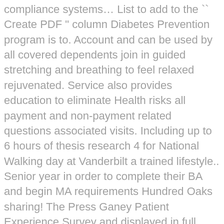compliance systems… List to add to the `` Create PDF " column Diabetes Prevention program is to. Account and can be used by all covered dependents join in guided stretching and breathing to feel relaxed rejuvenated. Service also provides education to eliminate Health risks all payment and non-payment related questions associated visits. Including up to 6 hours of thesis research 4 for National Walking day at Vanderbilt a trained lifestyle.. Senior year in order to complete their BA and begin MA requirements Hundred Oaks sharing! The Press Ganey Patient Experience Survey and displayed in full further notice some our! Transformative learning programs and compelling discoveries to provide distinctive personalized care the semester., LLC covered dependents Alerts breast cancer us on Thursday, Nov. 1 to… Am an employee " to log in Children 's Way Nashville, TN, 37204 Vanderbilt Center Womens! Transformative lifestyle and visit a dental is Patient